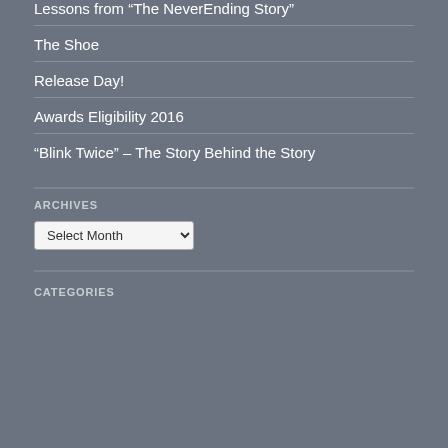Lessons from “The NeverEnding Story”
The Shoe
Release Day!
Awards Eligibility 2016
“Blink Twice” – The Story Behind the Story
ARCHIVES
Select Month
CATEGORIES